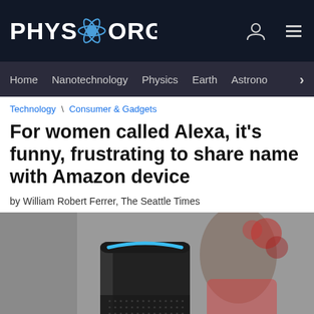PHYS.ORG
Home | Nanotechnology | Physics | Earth | Astronomy
Technology \ Consumer & Gadgets
For women called Alexa, it's funny, frustrating to share name with Amazon device
by William Robert Ferrer, The Seattle Times
[Figure (photo): Amazon Echo (tall cylindrical black smart speaker with blue light ring on top) in foreground, blurred woman in background with red floral elements]